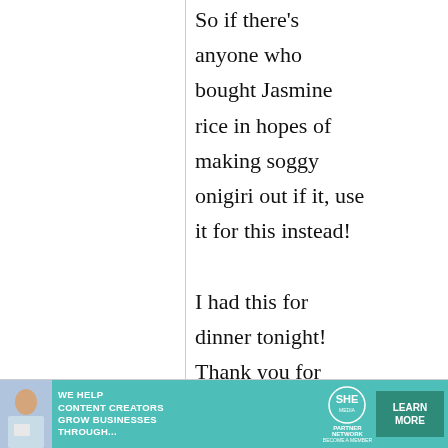So if there's anyone who bought Jasmine rice in hopes of making soggy onigiri out if it, use it for this instead! I had this for dinner tonight! Thank you for posting this recipe!
[Figure (infographic): Advertisement banner for SHE Media Partner Network. Teal background with text 'WE HELP CONTENT CREATORS GROW BUSINESSES THROUGH...' and SHE logo and 'LEARN MORE' button.]